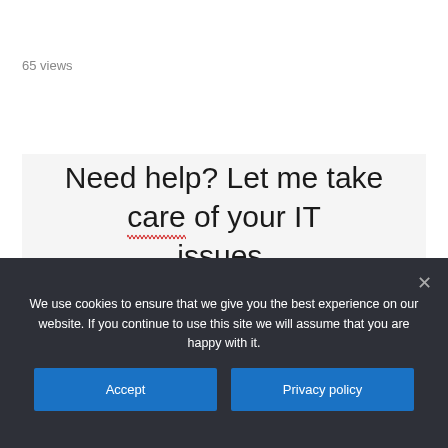65 views
Need help? Let me take care of your IT issues.
We use cookies to ensure that we give you the best experience on our website. If you continue to use this site we will assume that you are happy with it.
Accept
Privacy policy